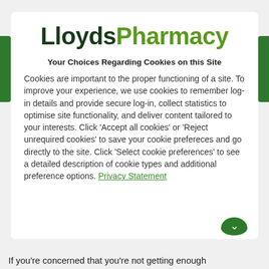LloydsPharmacy
Your Choices Regarding Cookies on this Site
Cookies are important to the proper functioning of a site. To improve your experience, we use cookies to remember log-in details and provide secure log-in, collect statistics to optimise site functionality, and deliver content tailored to your interests. Click 'Accept all cookies' or 'Reject unrequired cookies' to save your cookie prefereces and go directly to the site. Click 'Select cookie preferences' to see a detailed description of cookie types and additional preference options. Privacy Statement
If you're concerned that you're not getting enough